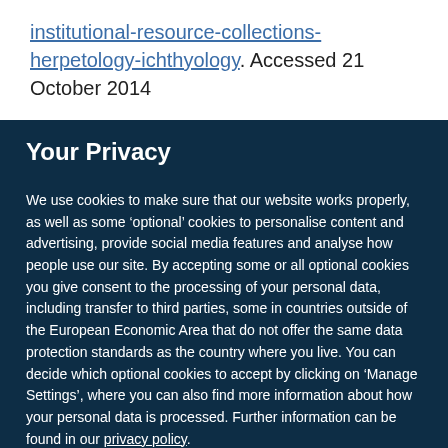institutional-resource-collections-herpetology-ichthyology. Accessed 21 October 2014
Your Privacy
We use cookies to make sure that our website works properly, as well as some ‘optional’ cookies to personalise content and advertising, provide social media features and analyse how people use our site. By accepting some or all optional cookies you give consent to the processing of your personal data, including transfer to third parties, some in countries outside of the European Economic Area that do not offer the same data protection standards as the country where you live. You can decide which optional cookies to accept by clicking on ‘Manage Settings’, where you can also find more information about how your personal data is processed. Further information can be found in our privacy policy.
Accept all cookies
Manage preferences